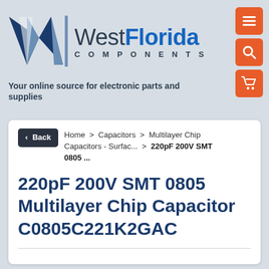[Figure (logo): West Florida Components logo with stylized W icon and company name]
Your online source for electronic parts and supplies
< Back   Home > Capacitors > Multilayer Chip Capacitors - Surfac... > 220pF 200V SMT 0805 ...
220pF 200V SMT 0805 Multilayer Chip Capacitor C0805C221K2GAC